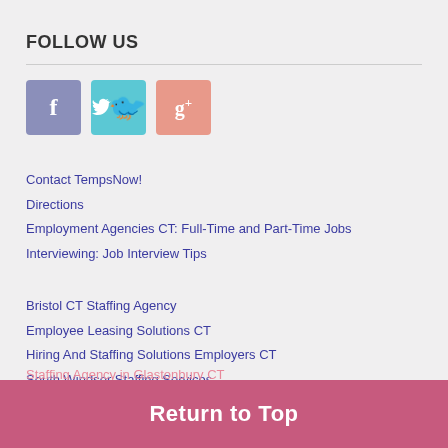FOLLOW US
[Figure (illustration): Three social media icon buttons: Facebook (purple/grey), Twitter (teal), Google+ (salmon/pink)]
Contact TempsNow!
Directions
Employment Agencies CT: Full-Time and Part-Time Jobs
Interviewing: Job Interview Tips
Bristol CT Staffing Agency
Employee Leasing Solutions CT
Hiring And Staffing Solutions Employers CT
South Windsor Staffing Services
Staffing Agencies in CT-Connecticut
Staffing Agency Manchester CT
Staffing Agency in Glastonbury CT
Staffing CT
Return to Top